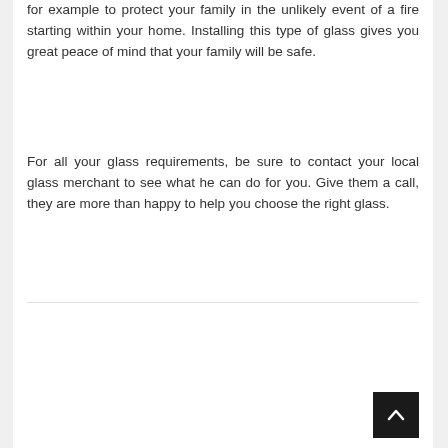for example to protect your family in the unlikely event of a fire starting within your home. Installing this type of glass gives you great peace of mind that your family will be safe.
For all your glass requirements, be sure to contact your local glass merchant to see what he can do for you. Give them a call, they are more than happy to help you choose the right glass.